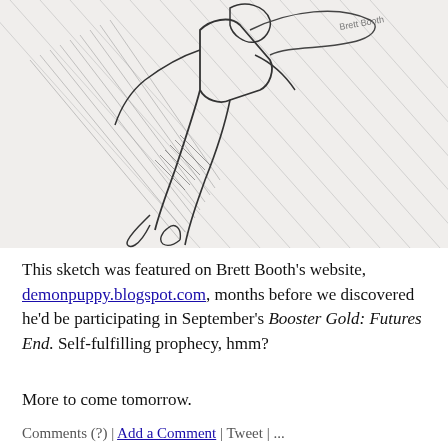[Figure (illustration): Black and white pencil sketch of a figure in action, drawn with diagonal hatching lines suggesting motion. The figure appears to be a superhero or character in a dynamic flying/leaping pose, rendered in a comic book illustration style. The sketch occupies the upper portion of the page.]
This sketch was featured on Brett Booth's website, demonpuppy.blogspot.com, months before we discovered he'd be participating in September's Booster Gold: Futures End. Self-fulfilling prophecy, hmm?
More to come tomorrow.
Comments (?) | Add a Comment | Tweet | ...